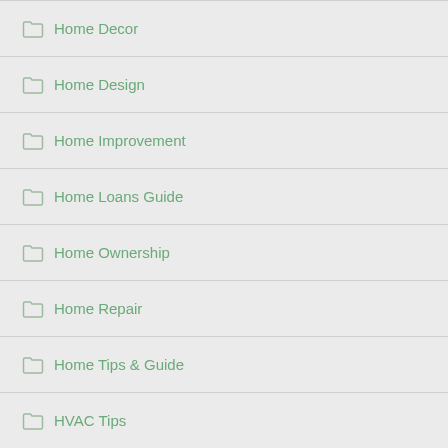Home Decor
Home Design
Home Improvement
Home Loans Guide
Home Ownership
Home Repair
Home Tips & Guide
HVAC Tips